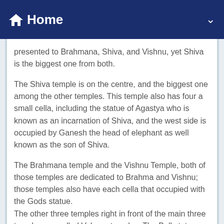Home
presented to Brahmana, Shiva, and Vishnu, yet Shiva is the biggest one from both.
The Shiva temple is on the centre, and the biggest one among the other temples. This temple also has four a small cella, including the statue of Agastya who is known as an incarnation of Shiva, and the west side is occupied by Ganesh the head of elephant as well known as the son of Shiva.
The Brahmana temple and the Vishnu Temple, both of those temples are dedicated to Brahma and Vishnu; those temples also have each cella that occupied with the Gods statue.
The other three temples right in front of the main three temples are called Vahana temples. The Bull statue known as Nandi for Shiva, The Swan for Brahma, and Garuda for Vishnu.
Prambanan is also famous for having more than 1000 stories that carved into its walls. Each of them is